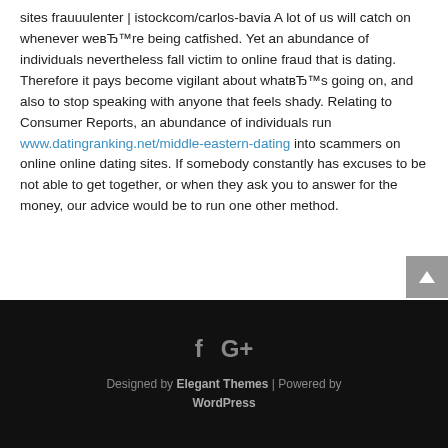A lot of us will catch on whenever we’re being catfished. Yet an abundance of individuals nevertheless fall victim to online fraud that is dating. Therefore it pays become vigilant about what’s going on, and also to stop speaking with anyone that feels shady. Relating to Consumer Reports, an abundance of individuals run www.datingranking.net/middle-eastern-dating into scammers on online online dating sites. If somebody constantly has excuses to be not able to get together, or when they ask you to answer for the money, our advice would be to run one other method.
Designed by Elegant Themes | Powered by WordPress